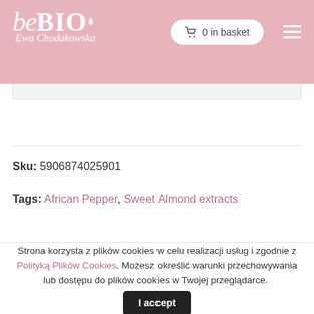beBIO Eva Chodorowska — 0 in basket
Sku: 5906874025901
Tags: African Pepper, Sweet Almond extracts
Strona korzysta z plików cookies w celu realizacji usług i zgodnie z Polityką Plików Cookies. Możesz określić warunki przechowywania lub dostępu do plików cookies w Twojej przeglądarce. I accept